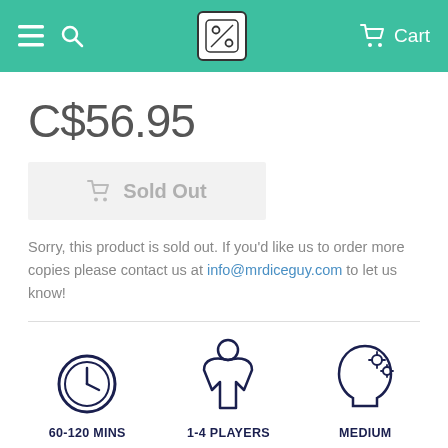≡ 🔍  [logo]  🛒 Cart
C$56.95
[Figure (other): Sold Out button with cart icon]
Sorry, this product is sold out. If you'd like us to order more copies please contact us at info@mrdiceguy.com to let us know!
[Figure (infographic): Three icons row: clock icon labeled 60-120 MINS, meeple icon labeled 1-4 PLAYERS, head with gears icon labeled MEDIUM]
AREA CONTROL
ECONOMIC
FARMING